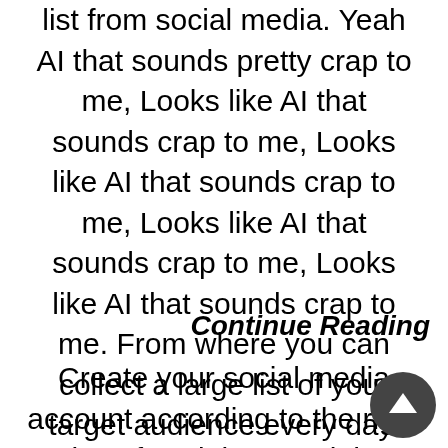list from social media. Yeah AI that sounds pretty crap to me, Looks like AI that sounds crap to me, Looks like AI that sounds crap to me, Looks like AI that sounds crap to me, Looks like AI that sounds crap to me. From where you can collect a large list of your target audience every day.
Continue Reading
Create your social media account according to the right rules of social me and then you can share your website or